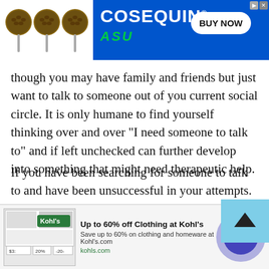[Figure (advertisement): COSEQUIN ASU advertisement banner with three spoons of supplement pellets on left and BUY NOW button on blue background]
though you may have family and friends but just want to talk to someone out of you current social circle. It is only humane to find yourself thinking over and over "I need someone to talk to" and if left unchecked can further develop into something that might need therapeutic help.
If you have been searching for someone to talk to and have been unsuccessful in your attempts. We implore you to not lose heart and find yourself someone to talk to before it's too late. This chat room being the best place to start looking for someone to talk to we have some
[Figure (advertisement): Kohl's advertisement: Up to 60% off Clothing at Kohl's. Save up to 60% on clothing and homeware at Kohl's.com. kohls.com]